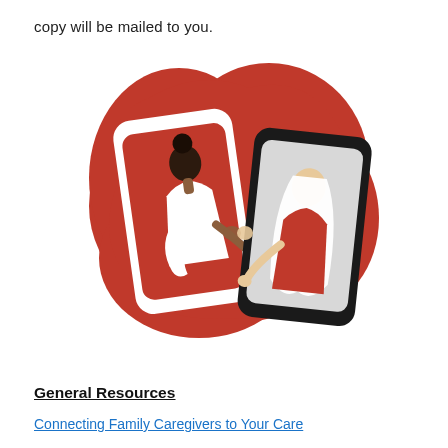copy will be mailed to you.
[Figure (illustration): Illustration of two women connecting through smartphone screens — one woman in white on a red phone screen, one in red on a dark-bordered phone screen with gray background, both reaching hands toward each other, against a large red blob shape background.]
General Resources
Connecting Family Caregivers to Your Care